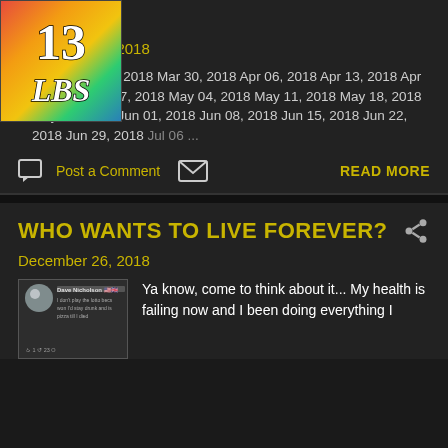TERMS
December 27, 2018
[Figure (illustration): Rainbow colored thumbnail image with '13 LBS' text]
D ATE Mar 23, 2018 Mar 30, 2018 Apr 06, 2018 Apr 13, 2018 Apr 20, 2018 Apr 27, 2018 May 04, 2018 May 11, 2018 May 18, 2018 May 25, 2018 Jun 01, 2018 Jun 08, 2018 Jun 15, 2018 Jun 22, 2018 Jun 29, 2018 Jul 06 ...
Post a Comment   READ MORE
WHO WANTS TO LIVE FOREVER?
December 26, 2018
[Figure (screenshot): Facebook post screenshot by Dave Nicholson]
Ya know, come to think about it... My health is failing now and I been doing everything I